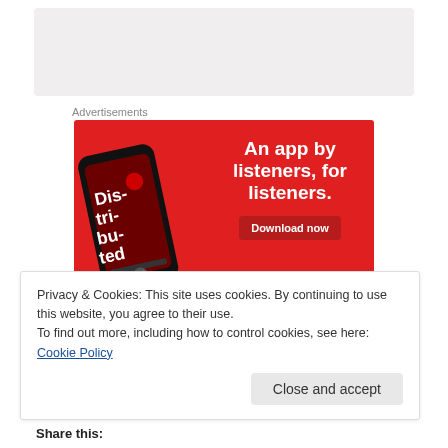[Figure (other): Gray placeholder box at top of page]
Advertisements
[Figure (infographic): Red advertisement banner: 'An app by listeners, for listeners.' with a phone showing a podcast app and a 'Download now' button]
Privacy & Cookies: This site uses cookies. By continuing to use this website, you agree to their use.
To find out more, including how to control cookies, see here: Cookie Policy
Close and accept
Share this: